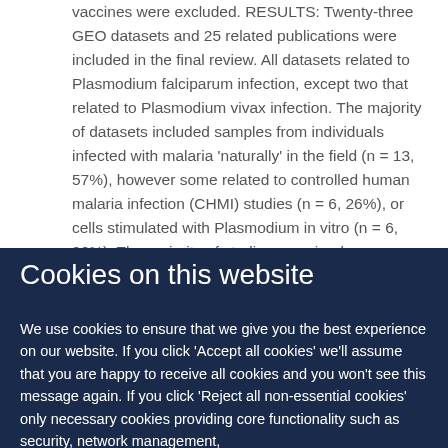vaccines were excluded. RESULTS: Twenty-three GEO datasets and 25 related publications were included in the final review. All datasets related to Plasmodium falciparum infection, except two that related to Plasmodium vivax infection. The majority of datasets included samples from individuals infected with malaria 'naturally' in the field (n = 13, 57%), however some related to controlled human malaria infection (CHMI) studies (n = 6, 26%), or cells stimulated with Plasmodium in vitro (n = 6, 26%). The majority of studies examined gene expression changes relating to the blood stage of the parasite. Significant heterogeneity between
Cookies on this website
We use cookies to ensure that we give you the best experience on our website. If you click 'Accept all cookies' we'll assume that you are happy to receive all cookies and you won't see this message again. If you click 'Reject all non-essential cookies' only necessary cookies providing core functionality such as security, network management,